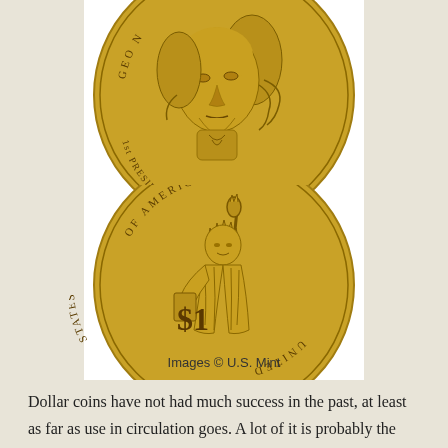[Figure (illustration): Two sides of a U.S. Presidential Dollar coin. Top: obverse showing portrait of George Washington labeled '1st PRESIDENT 1789-1797'. Bottom: reverse showing Statue of Liberty with text 'UNITED STATES OF AMERICA' and '$1'.]
Images © U.S. Mint
Dollar coins have not had much success in the past, at least as far as use in circulation goes. A lot of it is probably the same reason the two-